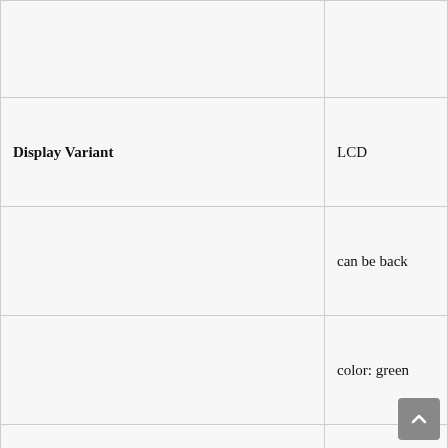| Property | Value |
| --- | --- |
|  |  |
| Display Variant | LCD |
|  | can be back |
|  | color: green |
| Relay | 1 SSR |
| Counter Mode Input A,B | Single chan |
|  | differential |
|  | adding or su |